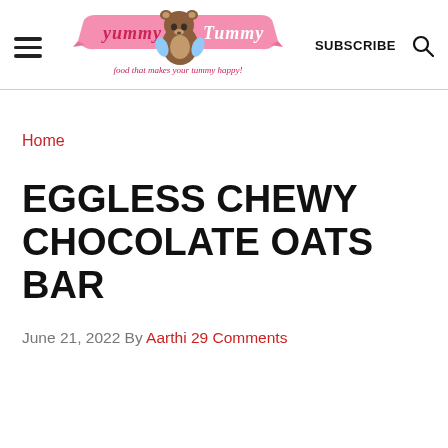yummy Tummy - food that makes your tummy happy! | SUBSCRIBE | Search
Home
EGGLESS CHEWY CHOCOLATE OATS BAR
June 21, 2022 By Aarthi 29 Comments